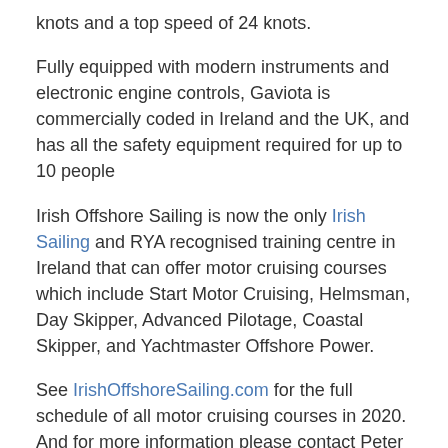knots and a top speed of 24 knots.
Fully equipped with modern instruments and electronic engine controls, Gaviota is commercially coded in Ireland and the UK, and has all the safety equipment required for up to 10 people
Irish Offshore Sailing is now the only Irish Sailing and RYA recognised training centre in Ireland that can offer motor cruising courses which include Start Motor Cruising, Helmsman, Day Skipper, Advanced Pilotage, Coastal Skipper, and Yachtmaster Offshore Power.
See IrishOffshoreSailing.com for the full schedule of all motor cruising courses in 2020. And for more information please contact Peter Beamish on 087 672 9999.
Tagged under  #Irish Offshore Sailing  #Courses  #Irish Sailing  #RYA